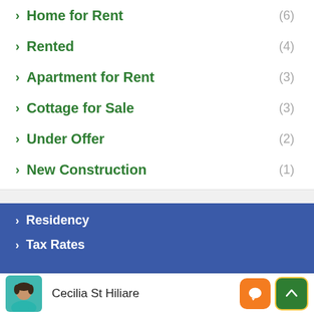Home for Rent (6)
Rented (4)
Apartment for Rent (3)
Cottage for Sale (3)
Under Offer (2)
New Construction (1)
Residency
Tax Rates
Cecilia St Hiliare